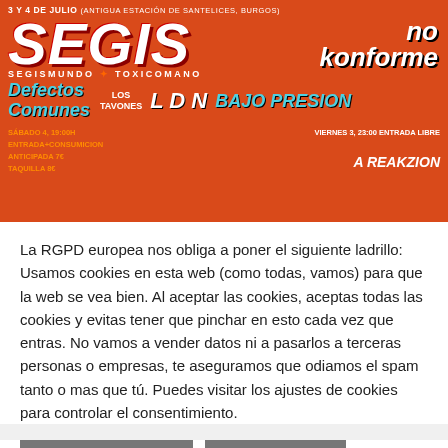[Figure (illustration): Concert poster for a music festival on 3 y 4 de Julio at Antigua Estación de Santelices, Burgos. Features bands: Segismundo Toxicomano (SEGIS), No Konforme, Defectos Comunes, Los Tavones, LDN Los del Humo, Bajo Presion. Orange/red background with band logos. Schedule: Sábado 4, 19:00h entrada+consumición anticipada 7€, taquilla 8€; Viernes 3, 23:00 entrada libre. Sponsored by A Reakzion.]
La RGPD europea nos obliga a poner el siguiente ladrillo: Usamos cookies en esta web (como todas, vamos) para que la web se vea bien. Al aceptar las cookies, aceptas todas las cookies y evitas tener que pinchar en esto cada vez que entras. No vamos a vender datos ni a pasarlos a terceras personas o empresas, te aseguramos que odiamos el spam tanto o mas que tú. Puedes visitar los ajustes de cookies para controlar el consentimiento.
Ajustes de cookies
Aceptar todo